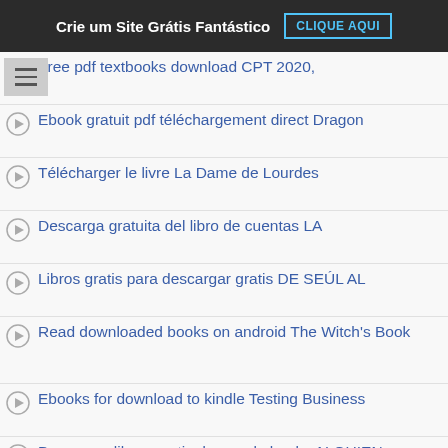Crie um Site Grátis Fantástico  CLIQUE AQUI
Free pdf textbooks download CPT 2020,
Ebook gratuit pdf téléchargement direct Dragon
Télécharger le livre La Dame de Lourdes
Descarga gratuita del libro de cuentas LA
Libros gratis para descargar gratis DE SEÚL AL
Read downloaded books on android The Witch's Book
Ebooks for download to kindle Testing Business
Descargar libros gratis de google books ALGUIEN
Best ebook pdf free download Creature Girls: A
Téléchargement de livres à partir de Google
Meilleurs téléchargements gratuits d'ebook